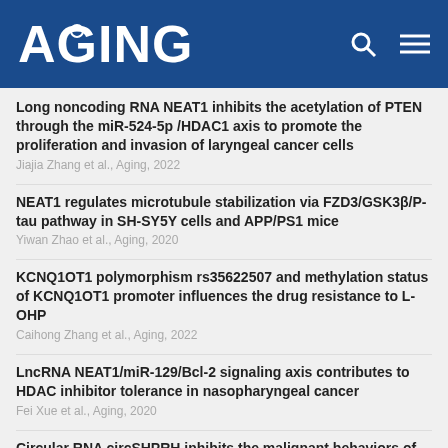AGING
Long noncoding RNA NEAT1 inhibits the acetylation of PTEN through the miR-524-5p /HDAC1 axis to promote the proliferation and invasion of laryngeal cancer cells
Jiajia Zhang et al., Aging, 2022
NEAT1 regulates microtubule stabilization via FZD3/GSK3β/P-tau pathway in SH-SY5Y cells and APP/PS1 mice
Yiwan Zhao et al., Aging, 2020
KCNQ1OT1 polymorphism rs35622507 and methylation status of KCNQ1OT1 promoter influences the drug resistance to L-OHP
Caihong Zhang et al., Aging, 2022
LncRNA NEAT1/miR-129/Bcl-2 signaling axis contributes to HDAC inhibitor tolerance in nasopharyngeal cancer
Fei Xue et al., Aging, 2020
Circular RNA circSHPRH inhibits the malignant behaviors of bladder cancer by regulating the miR-942/BARX2 pathway
Ling Zuo et al., Aging, 2022
LINC00858...